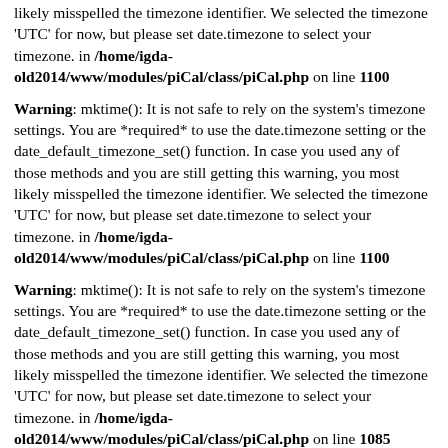likely misspelled the timezone identifier. We selected the timezone 'UTC' for now, but please set date.timezone to select your timezone. in /home/igda-old2014/www/modules/piCal/class/piCal.php on line 1100
Warning: mktime(): It is not safe to rely on the system's timezone settings. You are *required* to use the date.timezone setting or the date_default_timezone_set() function. In case you used any of those methods and you are still getting this warning, you most likely misspelled the timezone identifier. We selected the timezone 'UTC' for now, but please set date.timezone to select your timezone. in /home/igda-old2014/www/modules/piCal/class/piCal.php on line 1100
Warning: mktime(): It is not safe to rely on the system's timezone settings. You are *required* to use the date.timezone setting or the date_default_timezone_set() function. In case you used any of those methods and you are still getting this warning, you most likely misspelled the timezone identifier. We selected the timezone 'UTC' for now, but please set date.timezone to select your timezone. in /home/igda-old2014/www/modules/piCal/class/piCal.php on line 1085
Warning: date(): It is not safe to rely on the system's timezone settings. You are *required* to use the date.timezone setting or the